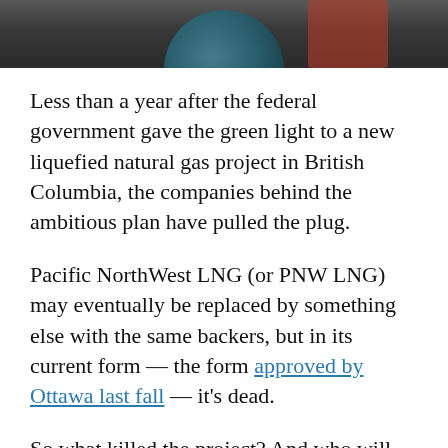[Figure (photo): Top portion of a photo showing industrial/mechanical equipment with dark tones, teal circular element and reddish element visible]
Less than a year after the federal government gave the green light to a new liquefied natural gas project in British Columbia, the companies behind the ambitious plan have pulled the plug.
Pacific NorthWest LNG (or PNW LNG) may eventually be replaced by something else with the same backers, but in its current form — the form approved by Ottawa last fall — it's dead.
So what killed the project? And who will benefit, or lose out, now that it's no longer moving ahead?